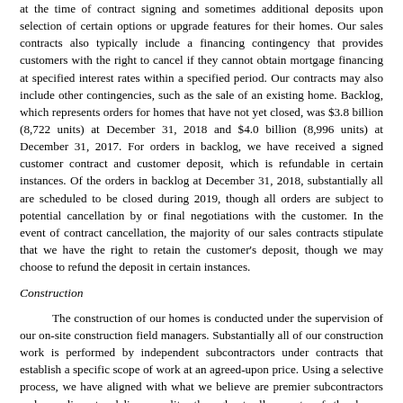at the time of contract signing and sometimes additional deposits upon selection of certain options or upgrade features for their homes. Our sales contracts also typically include a financing contingency that provides customers with the right to cancel if they cannot obtain mortgage financing at specified interest rates within a specified period. Our contracts may also include other contingencies, such as the sale of an existing home. Backlog, which represents orders for homes that have not yet closed, was $3.8 billion (8,722 units) at December 31, 2018 and $4.0 billion (8,996 units) at December 31, 2017. For orders in backlog, we have received a signed customer contract and customer deposit, which is refundable in certain instances. Of the orders in backlog at December 31, 2018, substantially all are scheduled to be closed during 2019, though all orders are subject to potential cancellation by or final negotiations with the customer. In the event of contract cancellation, the majority of our sales contracts stipulate that we have the right to retain the customer's deposit, though we may choose to refund the deposit in certain instances.
Construction
The construction of our homes is conducted under the supervision of our on-site construction field managers. Substantially all of our construction work is performed by independent subcontractors under contracts that establish a specific scope of work at an agreed-upon price. Using a selective process, we have aligned with what we believe are premier subcontractors and suppliers to deliver quality throughout all aspects of the house construction process. In addition, our construction field managers and customer care associates interact with our homebuyers throughout the construction process and instruct homebuyers on post-closing home maintenance.
Continuous improvement in our house construction process is a key area